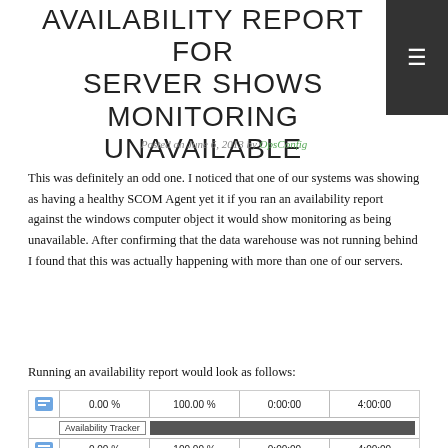AVAILABILITY REPORT FOR SERVER SHOWS MONITORING UNAVAILABLE
Posted on June 6, 2013 by OpsConfig
This was definitely an odd one. I noticed that one of our systems was showing as having a healthy SCOM Agent yet it if you ran an availability report against the windows computer object it would show monitoring as being unavailable. After confirming that the data warehouse was not running behind I found that this was actually happening with more than one of our servers.
Running an availability report would look as follows:
[Figure (screenshot): Screenshot of an availability report table showing rows with 0.00%, 100.00%, 0:00:00, 4:00:00 columns and an Availability Tracker bar]